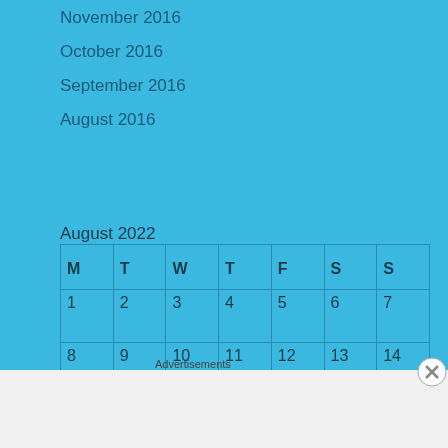November 2016
October 2016
September 2016
August 2016
August 2022
| M | T | W | T | F | S | S |
| --- | --- | --- | --- | --- | --- | --- |
| 1 | 2 | 3 | 4 | 5 | 6 | 7 |
| 8 | 9 | 10 | 11 | 12 | 13 | 14 |
| 15 | 16 | 17 | 18 | 19 | 20 | 21 |
| 22 | 23 | 24 | 25 | 26 | 27 | 28 |
| 29 | 30 | 31 |  |  |  |  |
Advertisements
[Figure (other): Bloomingdale's advertisement banner: bloomingdales logo, 'View Today's Top Deals!', woman with hat, 'SHOP NOW >' button]